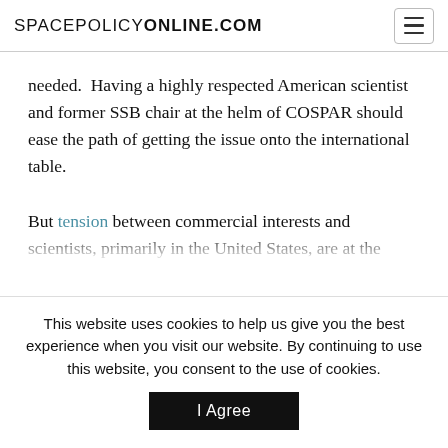SPACEPOLICYONLINE.COM
needed.  Having a highly respected American scientist and former SSB chair at the helm of COSPAR should ease the path of getting the issue onto the international table.

But tension between commercial interests and scientists, primarily in the United States, are at the heart of this particular planetary protection (PP) review.  Companies want to explore and extract and utilize resources on the Moon, Mars and asteroids without being hampered by unnecessary regulations.
This website uses cookies to help us give you the best experience when you visit our website. By continuing to use this website, you consent to the use of cookies.
I Agree